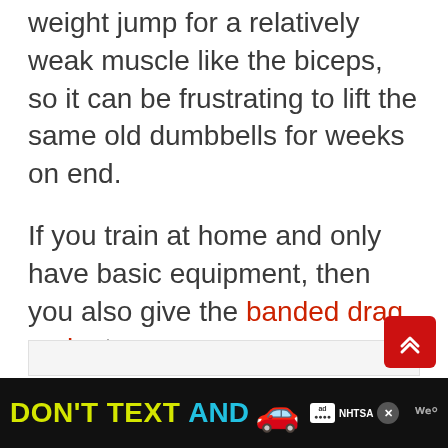weight jump for a relatively weak muscle like the biceps, so it can be frustrating to lift the same old dumbbells for weeks on end.
If you train at home and only have basic equipment, then you also give the banded drag curl a try.
[Figure (other): Advertisement banner: DON'T TEXT AND [car emoji] with NHTSA ad badge and close button]